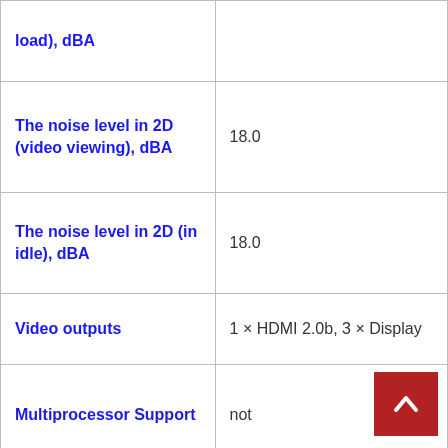| Property | Value |
| --- | --- |
| load), dBA |  |
| The noise level in 2D (video viewing), dBA | 18.0 |
| The noise level in 2D (in idle), dBA | 18.0 |
| Video outputs | 1 × HDMI 2.0b, 3 × Display… |
| Multiprocessor Support | not |
| Maximum number of receivers/monitors for simultaneous… | 4 |